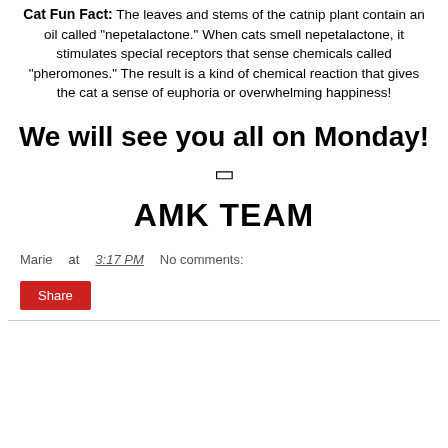Cat Fun Fact: The leaves and stems of the catnip plant contain an oil called "nepetalactone." When cats smell nepetalactone, it stimulates special receptors that sense chemicals called "pheromones." The result is a kind of chemical reaction that gives the cat a sense of euphoria or overwhelming happiness!
We will see you all on Monday!
🐱
AMK TEAM
Marie at 3:17 PM   No comments:
Share